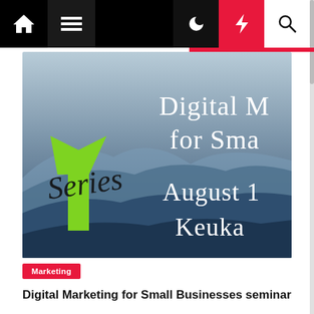Navigation bar with home, menu, dark mode, lightning/breaking news, and search icons
[Figure (illustration): Digital Marketing for Small Businesses seminar promotional banner with a green upward arrow, cursive 'Series' text, layered blue-grey mountain silhouettes, and white serif text reading 'Digital M... for Sma... August 1... Keuka...']
Marketing
Digital Marketing for Small Businesses seminar